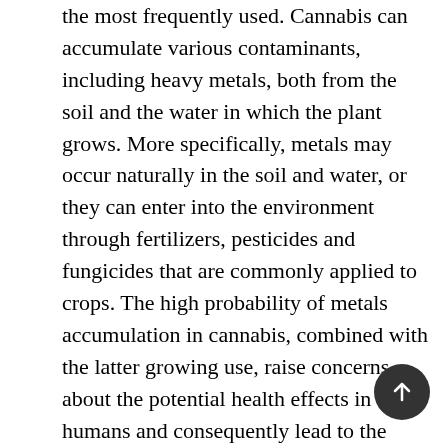the most frequently used. Cannabis can accumulate various contaminants, including heavy metals, both from the soil and the water in which the plant grows. More specifically, metals may occur naturally in the soil and water, or they can enter into the environment through fertilizers, pesticides and fungicides that are commonly applied to crops. The high probability of metals accumulation in cannabis, combined with the latter growing use, raise concerns about the potential health effects in humans and consequently lead to the need for the implementation of safety measures for cannabis products, such as guidelines for regulating contaminants, including metals, and especially the ones characterized by high toxicity in cannabis. Acknowledging the above, the aim of the current study was first to investigate metals contamination in cannabis samples collected from Greece, and secondly to examine potential differences in metals...